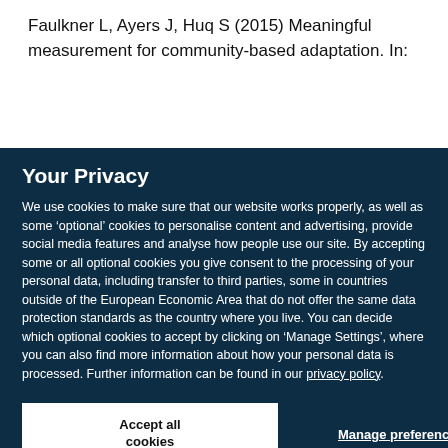Faulkner L, Ayers J, Huq S (2015) Meaningful measurement for community-based adaptation. In:
Your Privacy
We use cookies to make sure that our website works properly, as well as some ‘optional’ cookies to personalise content and advertising, provide social media features and analyse how people use our site. By accepting some or all optional cookies you give consent to the processing of your personal data, including transfer to third parties, some in countries outside of the European Economic Area that do not offer the same data protection standards as the country where you live. You can decide which optional cookies to accept by clicking on ‘Manage Settings’, where you can also find more information about how your personal data is processed. Further information can be found in our privacy policy.
Accept all cookies
Manage preferences